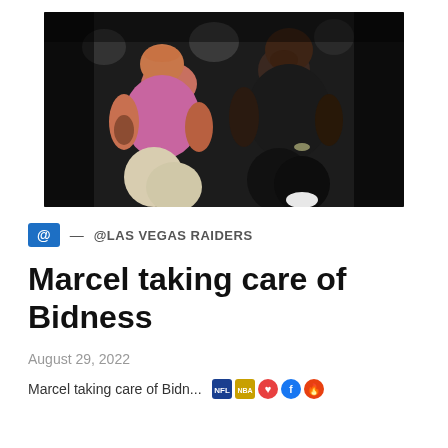[Figure (photo): Two men sitting in what appears to be a sports arena audience. The man on the left wears a pink/magenta t-shirt and light pants; the man on the right wears a dark/black outfit. The background shows other audience members in a dark arena setting.]
@ — @LAS VEGAS RAIDERS
Marcel taking care of Bidness
August 29, 2022
Marcel taking care of Bidn...